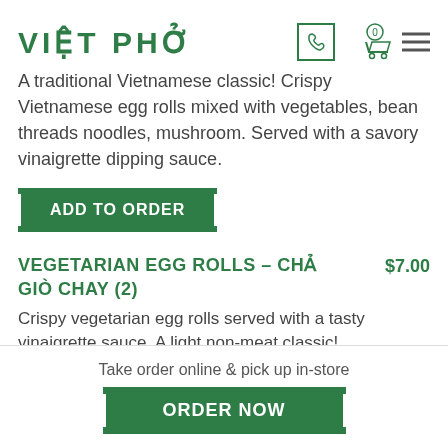VIỆT PHỞ
A traditional Vietnamese classic! Crispy Vietnamese egg rolls mixed with vegetables, bean threads noodles, mushroom. Served with a savory vinaigrette dipping sauce.
ADD TO ORDER
VEGETARIAN EGG ROLLS – CHẢ GIÒ CHAY (2)  $7.00
Crispy vegetarian egg rolls served with a tasty vinaigrette sauce. A light non-meat classic!
Take order online & pick up in-store
ORDER NOW